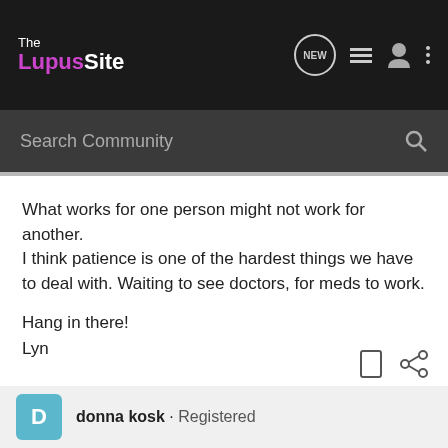The LupusSite
Search Community
What works for one person might not work for another. I think patience is one of the hardest things we have to deal with. Waiting to see doctors, for meds to work.

Hang in there!
Lyn
No act of kindness, no matter how small, is ever wasted.~Aesop"
donna kosk · Registered